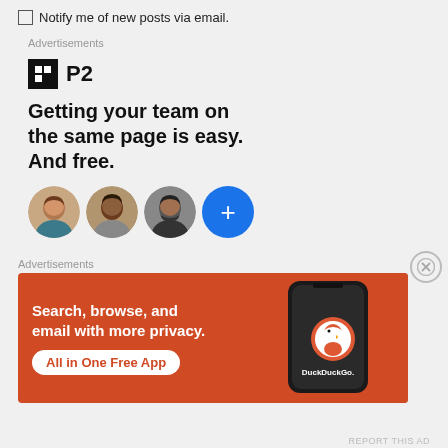Notify me of new posts via email.
Advertisements
[Figure (screenshot): P2 advertisement: logo with black square icon and 'P2' text, headline 'Getting your team on the same page is easy. And free.' with three circular avatar photos and a blue plus button]
Advertisements
[Figure (screenshot): DuckDuckGo advertisement on orange background: 'Search, browse, and email with more privacy. All in One Free App' with phone mockup and DuckDuckGo logo]